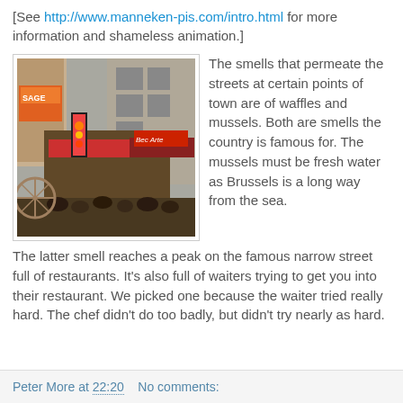[See http://www.manneken-pis.com/intro.html for more information and shameless animation.]
[Figure (photo): Street scene in Brussels showing a narrow road lined with illuminated shop signs, restaurant awnings, and crowds of people walking.]
The smells that permeate the streets at certain points of town are of waffles and mussels. Both are smells the country is famous for. The mussels must be fresh water as Brussels is a long way from the sea. The latter smell reaches a peak on the famous narrow street full of restaurants. It's also full of waiters trying to get you into their restaurant. We picked one because the waiter tried really hard. The chef didn't do too badly, but didn't try nearly as hard.
Peter More at 22:20    No comments: